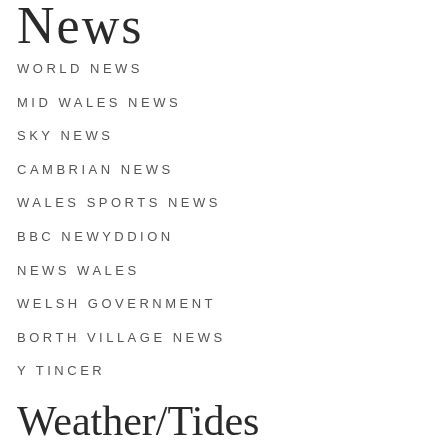News
WORLD NEWS
MID WALES NEWS
SKY NEWS
CAMBRIAN NEWS
WALES SPORTS NEWS
BBC NEWYDDION
NEWS WALES
WELSH GOVERNMENT
BORTH VILLAGE NEWS
Y TINCER
Weather/Tides